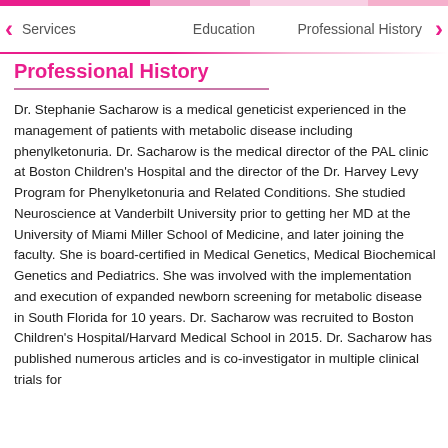Services   Education   Professional History
Professional History
Dr. Stephanie Sacharow is a medical geneticist experienced in the management of patients with metabolic disease including phenylketonuria. Dr. Sacharow is the medical director of the PAL clinic at Boston Children's Hospital and the director of the Dr. Harvey Levy Program for Phenylketonuria and Related Conditions. She studied Neuroscience at Vanderbilt University prior to getting her MD at the University of Miami Miller School of Medicine, and later joining the faculty. She is board-certified in Medical Genetics, Medical Biochemical Genetics and Pediatrics. She was involved with the implementation and execution of expanded newborn screening for metabolic disease in South Florida for 10 years. Dr. Sacharow was recruited to Boston Children's Hospital/Harvard Medical School in 2015. Dr. Sacharow has published numerous articles and is co-investigator in multiple clinical trials for